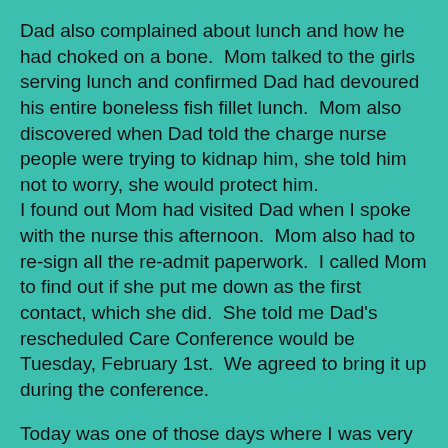Dad also complained about lunch and how he had choked on a bone.  Mom talked to the girls serving lunch and confirmed Dad had devoured his entire boneless fish fillet lunch.  Mom also discovered when Dad told the charge nurse people were trying to kidnap him, she told him not to worry, she would protect him.
I found out Mom had visited Dad when I spoke with the nurse this afternoon.  Mom also had to re-sign all the re-admit paperwork.  I called Mom to find out if she put me down as the first contact, which she did.  She told me Dad's rescheduled Care Conference would be Tuesday, February 1st.  We agreed to bring it up during the conference.
Today was one of those days where I was very emotional.  Mom tried to help me calm down, but I was upset.  She mentioned my youngest brother was over for a visit, so I asked to speak with him.  He took his turn at getting me to stop worrying and fretting about Dad.  "Let go, and let God take over", is one of his favorite phrases for advice.  He told me how blessed we are to have Dad for 90 years and the fact Dad believes in the Lord.